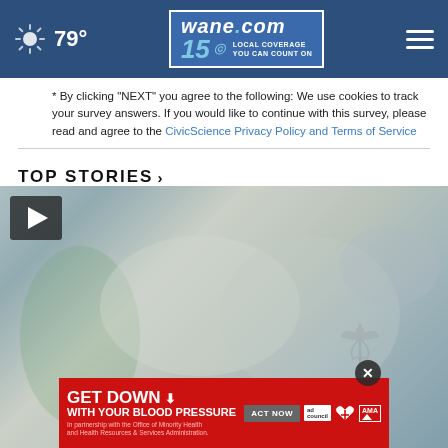wane.com 15 LOCAL COVERAGE YOU CAN COUNT ON | 79°
* By clicking "NEXT" you agree to the following: We use cookies to track your survey answers. If you would like to continue with this survey, please read and agree to the CivicScience Privacy Policy and Terms of Service
TOP STORIES ›
[Figure (screenshot): Video thumbnail showing a blurry refrigerator or medical storage area with a play button in the top left corner. An advertisement overlay at the bottom reads 'GET DOWN WITH YOUR BLOOD PRESSURE – ACT NOW – In partnership with the Office of Minority Health and Health Resources & Services Administration' with AMA and American Heart Association logos. A close (X) button appears on the ad.]